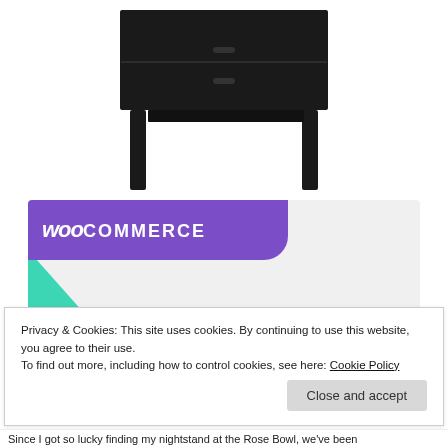[Figure (photo): Black wooden nightstand with two drawers photographed on white background, legs visible, partially cropped at top]
[Figure (screenshot): WooCommerce promotional banner with purple header logo, teal and blue decorative shapes, text 'How to start selling subscriptions online' and a purple Start a new store button on light grey background]
Privacy & Cookies: This site uses cookies. By continuing to use this website, you agree to their use.
To find out more, including how to control cookies, see here: Cookie Policy
Close and accept
Since I got so lucky finding my nightstand at the Rose Bowl, we've been